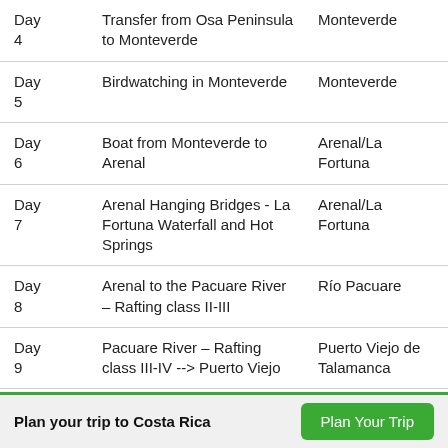| Day | Activity | Location |
| --- | --- | --- |
| Day 4 | Transfer from Osa Peninsula to Monteverde | Monteverde |
| Day 5 | Birdwatching in Monteverde | Monteverde |
| Day 6 | Boat from Monteverde to Arenal | Arenal/La Fortuna |
| Day 7 | Arenal Hanging Bridges - La Fortuna Waterfall and Hot Springs | Arenal/La Fortuna |
| Day 8 | Arenal to the Pacuare River – Rafting class II-III | Río Pacuare |
| Day 9 | Pacuare River – Rafting class III-IV --> Puerto Viejo | Puerto Viejo de Talamanca |
Plan your trip to Costa Rica
Plan Your Trip